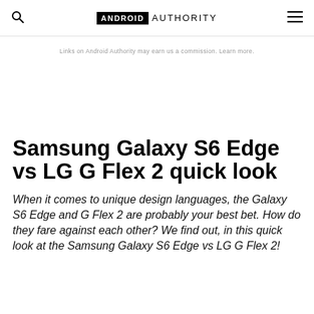ANDROID AUTHORITY
Links on Android Authority may earn us a commission. Learn more.
Samsung Galaxy S6 Edge vs LG G Flex 2 quick look
When it comes to unique design languages, the Galaxy S6 Edge and G Flex 2 are probably your best bet. How do they fare against each other? We find out, in this quick look at the Samsung Galaxy S6 Edge vs LG G Flex 2!
By ... · March 19, 2015